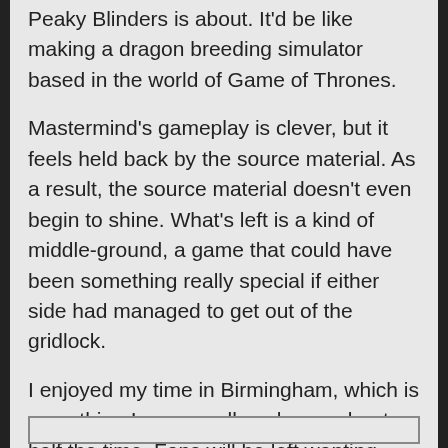Peaky Blinders is about. It'd be like making a dragon breeding simulator based in the world of Game of Thrones.
Mastermind's gameplay is clever, but it feels held back by the source material. As a result, the source material doesn't even begin to shine. What's left is a kind of middle-ground, a game that could have been something really special if either side had managed to get out of the gridlock.
I enjoyed my time in Birmingham, which is something I can usually only say about half the time. Fans will be left wanting more – more story, more game. Everybody else should wait for a price drop.